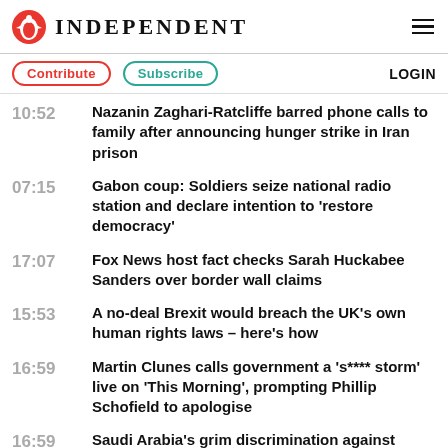Independent
Contribute | Subscribe | LOGIN
10:52 - Nazanin Zaghari-Ratcliffe barred phone calls to family after announcing hunger strike in Iran prison
07:15 - Gabon coup: Soldiers seize national radio station and declare intention to 'restore democracy'
17:07 - Fox News host fact checks Sarah Huckabee Sanders over border wall claims
15:53 - A no-deal Brexit would breach the UK's own human rights laws – here's how
16:59 - Martin Clunes calls government a 's**** storm' live on 'This Morning', prompting Phillip Schofield to apologise
16:59 - Saudi Arabia's grim discrimination against women is exposed by Rahaf Mohammed al-Qunun and it demands a response